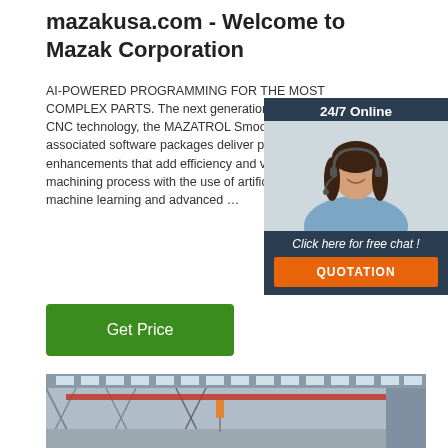mazakusa.com - Welcome to Mazak Corporation
AI-POWERED PROGRAMMING FOR THE MOST COMPLEX PARTS. The next generation MAZATROL Smooth CNC technology, the MAZATROL SmoothAi control and associated software packages deliver powerful digital enhancements that add efficiency and value throughout the machining process with the use of artificial intelligence (AI), machine learning and advanced …
[Figure (photo): Customer service representative with headset, 24/7 Online chat widget with dark blue background, showing 'Click here for free chat!' text and an orange QUOTATION button]
[Figure (photo): Interior of an industrial factory or warehouse with steel roof trusses and overhead crane]
Get Price